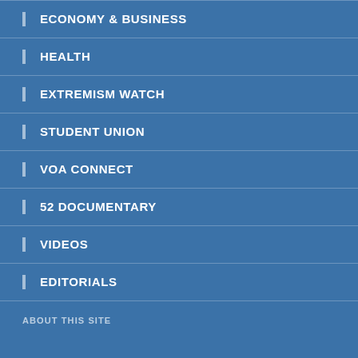ECONOMY & BUSINESS
HEALTH
EXTREMISM WATCH
STUDENT UNION
VOA CONNECT
52 DOCUMENTARY
VIDEOS
EDITORIALS
ABOUT THIS SITE